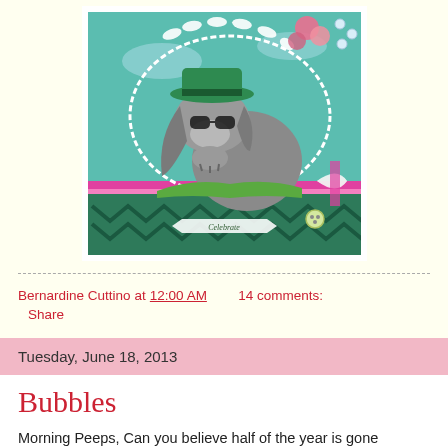[Figure (photo): Handmade greeting card featuring a cartoon dog wearing a green hat and sunglasses, sitting on a teal chevron patterned card base with pink ribbon, white lace border, pink flowers, and a 'Celebrate' banner.]
Bernardine Cuttino at 12:00 AM    14 comments:
Share
Tuesday, June 18, 2013
Bubbles
Morning Peeps, Can you believe half of the year is gone